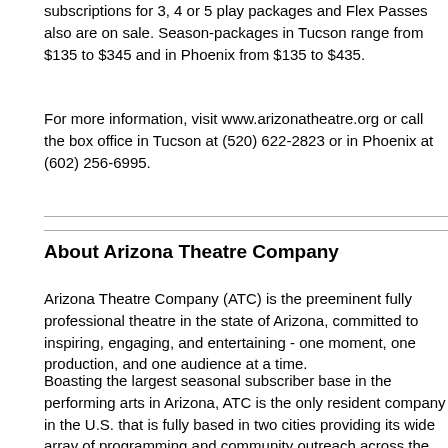subscriptions for 3, 4 or 5 play packages and Flex Passes also are on sale. Season-packages in Tucson range from $135 to $345 and in Phoenix from $135 to $435.
For more information, visit www.arizonatheatre.org or call the box office in Tucson at (520) 622-2823 or in Phoenix at (602) 256-6995.
About Arizona Theatre Company
Arizona Theatre Company (ATC) is the preeminent fully professional theatre in the state of Arizona, committed to inspiring, engaging, and entertaining - one moment, one production, and one audience at a time.
Boasting the largest seasonal subscriber base in the performing arts in Arizona, ATC is the only resident company in the U.S. that is fully based in two cities providing its wide array of programming and community outreach across the region. Now in its 50th season, more than 130,000 people each year attend our performances at the historic Temple of Music and Art in Tucson, and the elegant Herberger Theater Center in downtown Phoenix.